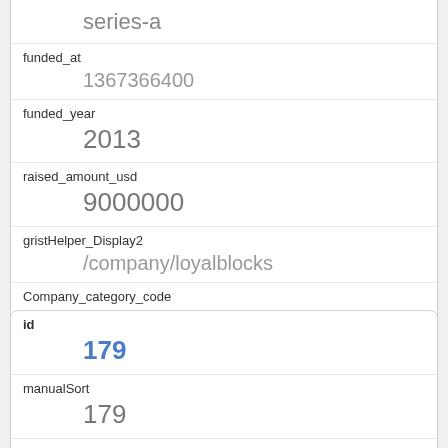| Field | Value |
| --- | --- |
| series-a |  |
| funded_at | 1367366400 |
| funded_year | 2013 |
| raised_amount_usd | 9000000 |
| gristHelper_Display2 | /company/loyalblocks |
| Company_category_code | mobile |
| Investor | Gemini Israel Ventures
https://www.crunchbase.com/company/gemini-israel-ventures |
| Field | Value |
| --- | --- |
| id | 179 |
| manualSort | 179 |
| Company |  |